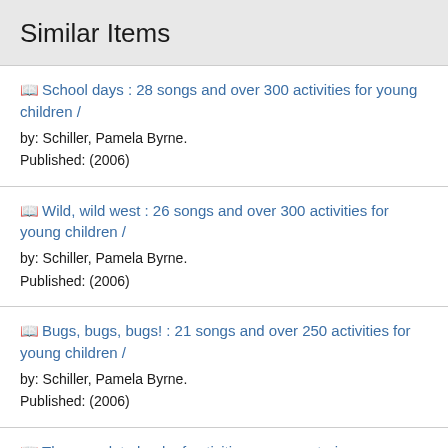Similar Items
School days : 28 songs and over 300 activities for young children / by: Schiller, Pamela Byrne. Published: (2006)
Wild, wild west : 26 songs and over 300 activities for young children / by: Schiller, Pamela Byrne. Published: (2006)
Bugs, bugs, bugs! : 21 songs and over 250 activities for young children / by: Schiller, Pamela Byrne. Published: (2006)
The complete book of activities, games, stories, props,